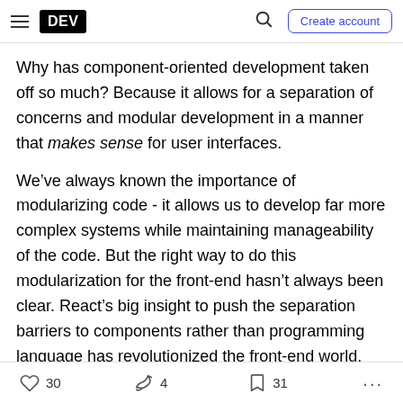DEV | Create account
Why has component-oriented development taken off so much? Because it allows for a separation of concerns and modular development in a manner that makes sense for user interfaces.
We’ve always known the importance of modularizing code - it allows us to develop far more complex systems while maintaining manageability of the code. But the right way to do this modularization for the front-end hasn’t always been clear. React’s big insight to push the separation barriers to components rather than programming language has revolutionized the front-end world.
30 | 4 | 31